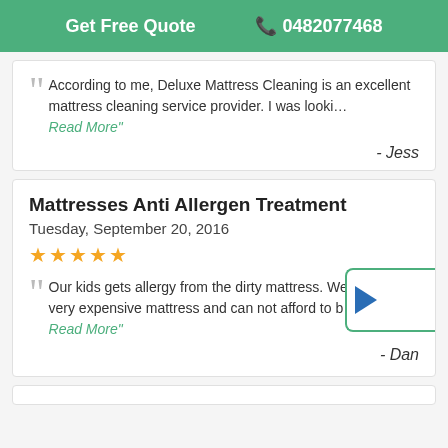Get Free Quote   0482077468
According to me, Deluxe Mattress Cleaning is an excellent mattress cleaning service provider. I was looki…
Read More"
- Jess
Mattresses Anti Allergen Treatment
Tuesday, September 20, 2016
★★★★★
Our kids gets allergy from the dirty mattress. We brought very expensive mattress and can not afford to b…
Read More"
- Dan